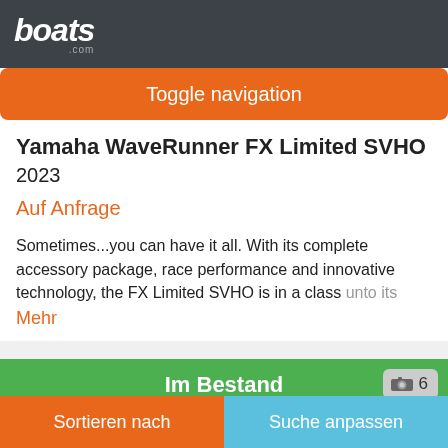boats.com
Toggle navigation
Yamaha WaveRunner FX Limited SVHO
2023
Auf Anfrage
Sometimes...you can have it all. With its complete accessory package, race performance and innovative technology, the FX Limited SVHO is in a class unto its
Mehr
Im Bestand
[Figure (photo): Photo strip showing boats/watercraft at a dealer lot]
Sortieren nach
Suche anpassen